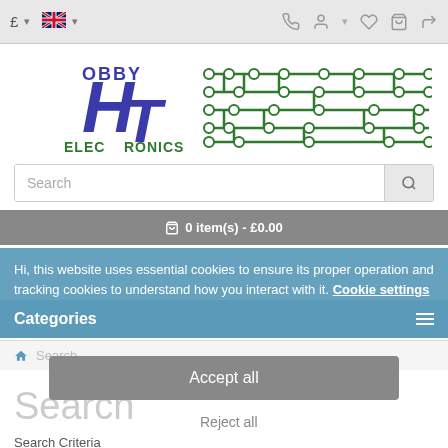£ ▾  [UK flag] ▾    [phone] [user] ▾ [heart] [cart] [share]
[Figure (logo): HT Hobby Electronics logo with circuit board trace design in blue and green]
Search (search bar with magnifying glass button)
🛒 0 item(s) - £0.00
Hi, this website uses essential cookies to ensure its proper operation and tracking cookies to understand how you interact with it. Cookie settings
Categories
🏠 Search
Accept all
Reject all
Search
Search Criteria